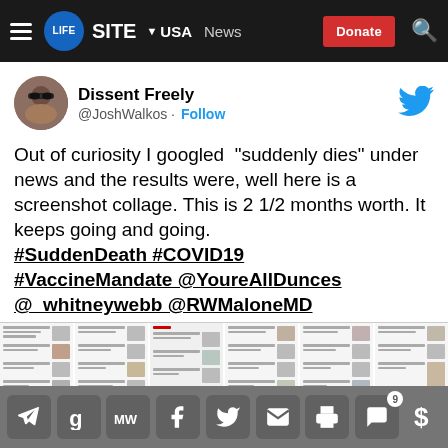LifeSite · USA · News · Donate
Dissent Freely @JoshWalkos · Follow
Out of curiosity I googled “suddenly dies” under news and the results were, well here is a screenshot collage. This is 2 1/2 months worth. It keeps going and going. #SuddenDeath #COVID19 #VaccineMandate @YoureAllDunces @_whitneywebb @RWMaloneMD @joerogan @rustyrockets
[Figure (screenshot): Screenshot collage of news search results for 'suddenly dies', showing multiple news article thumbnails arranged in columns.]
Share bar with icons: Telegram, Gettr, MeWe, Facebook, Twitter, Email, Print, Comments (9), Donate